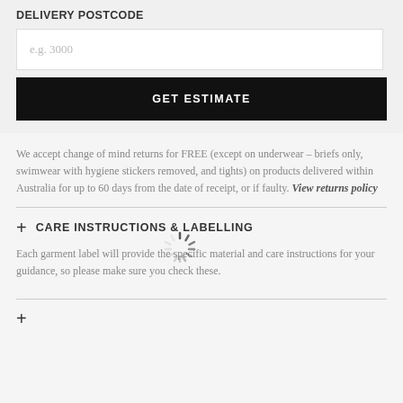DELIVERY POSTCODE
e.g. 3000
GET ESTIMATE
We accept change of mind returns for FREE (except on underwear – briefs only, swimwear with hygiene stickers removed, and tights) on products delivered within Australia for up to 60 days from the date of receipt, or if faulty. View returns policy
CARE INSTRUCTIONS & LABELLING
Each garment label will provide the specific material and care instructions for your guidance, so please make sure you check these.